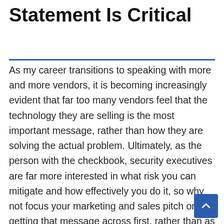Statement Is Critical
As my career transitions to speaking with more and more vendors, it is becoming increasingly evident that far too many vendors feel that the technology they are selling is the most important message, rather than how they are solving the actual problem. Ultimately, as the person with the checkbook, security executives are far more interested in what risk you can mitigate and how effectively you do it, so why not focus your marketing and sales pitch on getting that message across first, rather than as a side note of ‘oh – yeah, that’s what we do’.
Fundamentally, there are four key elements of